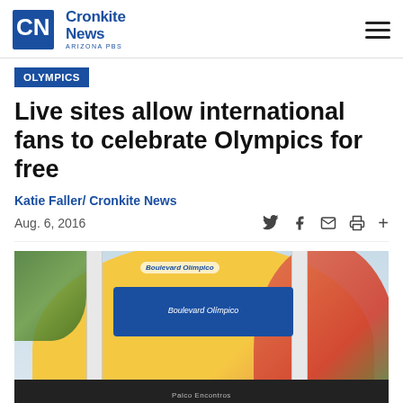Cronkite News Arizona PBS
OLYMPICS
Live sites allow international fans to celebrate Olympics for free
Katie Faller/ Cronkite News
Aug. 6, 2016
[Figure (photo): Colorful Olympic live site venue showing the Boulevard Olimpico stage with yellow and red arched facade, blue LED screen displaying 'Boulevard Olimpico', white branded pillars, and stage labeled 'Palco Encontros']